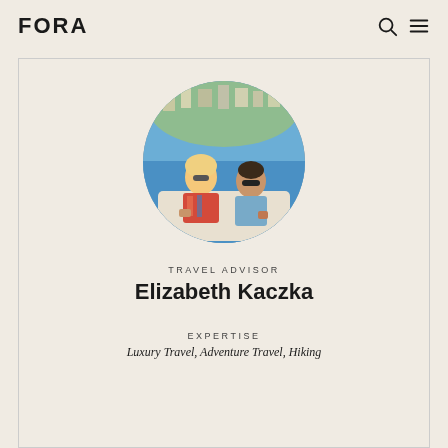FORA
[Figure (photo): Circular profile photo of Elizabeth Kaczka and another person on a boat with blue water and hillside buildings in background]
TRAVEL ADVISOR
Elizabeth Kaczka
EXPERTISE
Luxury Travel, Adventure Travel, Hiking